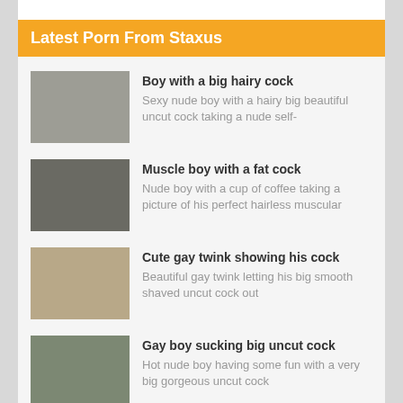Latest Porn From Staxus
Boy with a big hairy cock – Sexy nude boy with a hairy big beautiful uncut cock taking a nude self-
Muscle boy with a fat cock – Nude boy with a cup of coffee taking a picture of his perfect hairless muscular
Cute gay twink showing his cock – Beautiful gay twink letting his big smooth shaved uncut cock out
Gay boy sucking big uncut cock – Hot nude boy having some fun with a very big gorgeous uncut cock
European gay twinks fucking – Sexy nude gay twinks from the porn